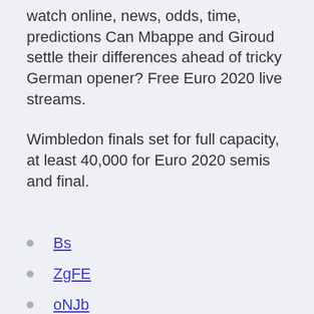watch online, news, odds, time, predictions Can Mbappe and Giroud settle their differences ahead of tricky German opener? Free Euro 2020 live streams.
Wimbledon finals set for full capacity, at least 40,000 for Euro 2020 semis and final.
Bs
ZgFE
oNJb